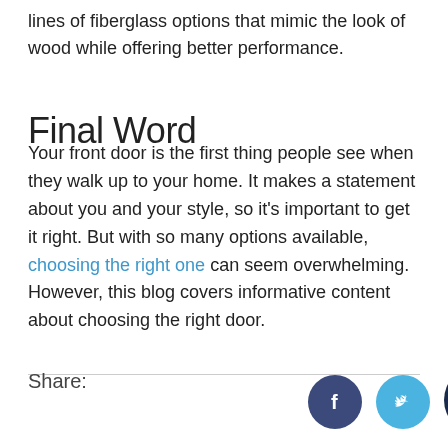lines of fiberglass options that mimic the look of wood while offering better performance.
Final Word
Your front door is the first thing people see when they walk up to your home. It makes a statement about you and your style, so it's important to get it right. But with so many options available, choosing the right one can seem overwhelming. However, this blog covers informative content about choosing the right door.
Share: